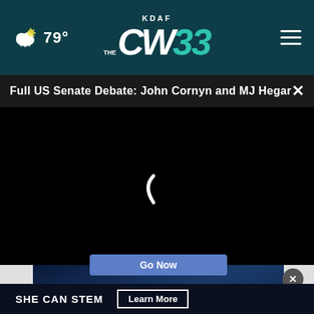KDAF CW 33 – 79° weather – navigation bar
Full US Senate Debate: John Cornyn and MJ Hegar
[Figure (screenshot): Video player area showing black screen with loading spinner arc in the center]
[Figure (screenshot): Advertisement overlay with 'Go Now' button and close X button, over dark blue background]
SHE CAN STEM – Learn More